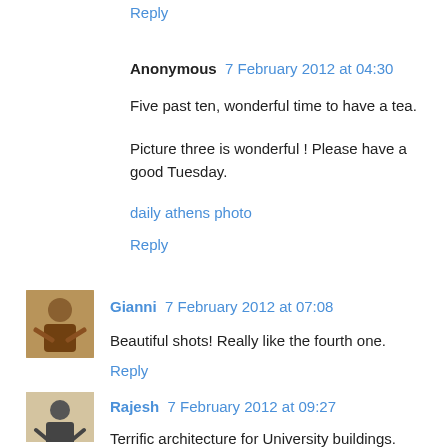Reply
Anonymous  7 February 2012 at 04:30
Five past ten, wonderful time to have a tea.
Picture three is wonderful ! Please have a good Tuesday.
daily athens photo
Reply
[Figure (photo): Small avatar photo of Gianni, appears to be a person in casual clothing]
Gianni  7 February 2012 at 07:08
Beautiful shots! Really like the fourth one.
Reply
[Figure (photo): Small avatar photo of Rajesh, appears to be a person silhouette]
Rajesh  7 February 2012 at 09:27
Terrific architecture for University buildings.